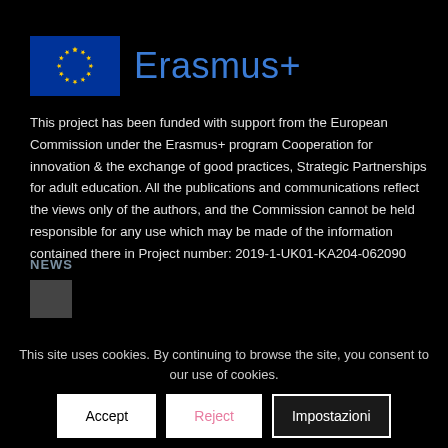[Figure (logo): EU flag (blue rectangle with circle of yellow stars) next to 'Erasmus+' text in blue]
This project has been funded with support from the European Commission under the Erasmus+ program Cooperation for innovation & the exchange of good practices, Strategic Partnerships for adult education. All the publications and communications reflect the views only of the authors, and the Commission cannot be held responsible for any use which may be made of the information contained there in Project number: 2019-1-UK01-KA204-062090
This site uses cookies. By continuing to browse the site, you consent to our use of cookies.
NEWS
[Figure (photo): Small news thumbnail image]